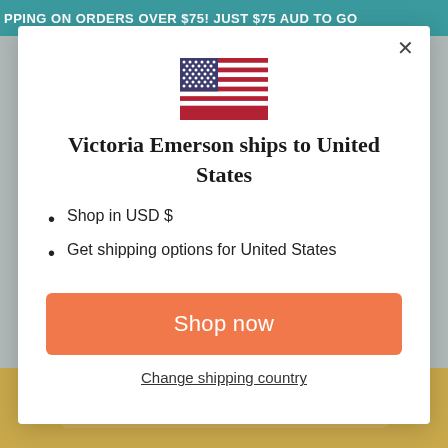PPING ON ORDERS OVER $75! JUST $75 AUD TO GO
[Figure (illustration): US flag emoji/icon]
Victoria Emerson ships to United States
Shop in USD $
Get shipping options for United States
Shop now
Change shipping country